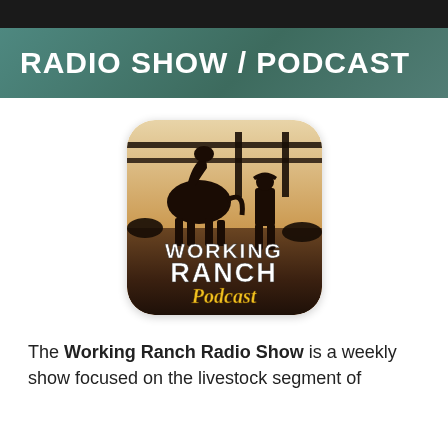RADIO SHOW / PODCAST
[Figure (logo): Working Ranch Podcast logo: a rounded square image showing silhouettes of a horse and a cowboy walking near a gate/corral at golden hour. Text reads WORKING RANCH Podcast in white and yellow letters.]
The Working Ranch Radio Show is a weekly show focused on the livestock segment of